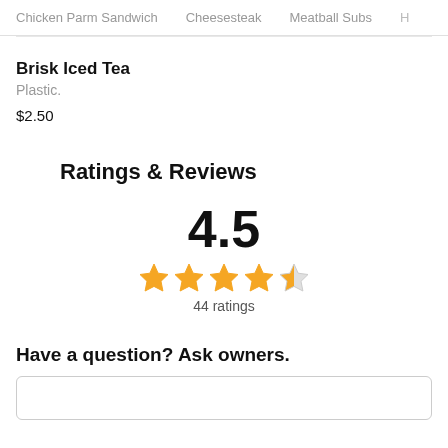Chicken Parm Sandwich   Cheesesteak   Meatball Subs   H
Brisk Iced Tea
Plastic.
$2.50
Ratings & Reviews
4.5
44 ratings
Have a question? Ask owners.